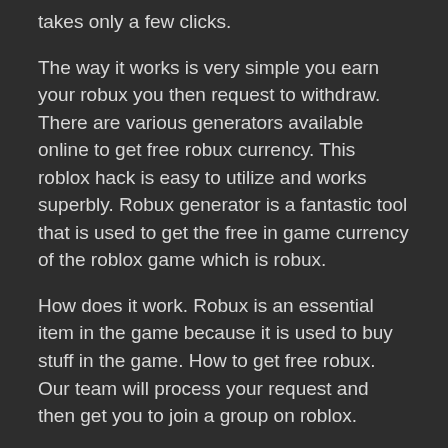takes only a few clicks.
The way it works is very simple you earn your robux you then request to withdraw. There are various generators available online to get free robux currency. This roblox hack is easy to utilize and works superbly. Robux generator is a fantastic tool that is used to get the free in game currency of the roblox game which is robux.
How does it work. Robux is an essential item in the game because it is used to buy stuff in the game. How to get free robux. Our team will process your request and then get you to join a group on roblox.
Thus by using the robux hack for roblox you can get robux in a split second. The steps are comfortable and anyone can quickly get free robux. Rbxdaily a reward site that gives free robux for completing offers watching videos playing video games and downloading apps. Choose your robux package.
Your exact roblox username must be entered with proper capitalization. Step by step guide to get free robux with roblox generator. Our site can give you free robux and free roblox gift